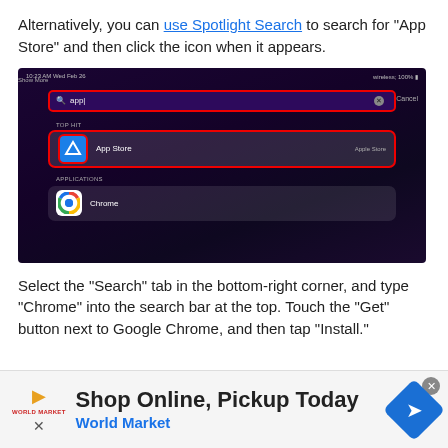Alternatively, you can use Spotlight Search to search for “App Store” and then click the icon when it appears.
[Figure (screenshot): Screenshot of iOS Spotlight Search showing a search for 'app' with App Store as the top hit (highlighted in red border) and Chrome under Applications.]
Select the “Search” tab in the bottom-right corner, and type “Chrome” into the search bar at the top. Touch the “Get” button next to Google Chrome, and then tap “Install.”
[Figure (screenshot): Advertisement banner: Shop Online, Pickup Today - World Market]